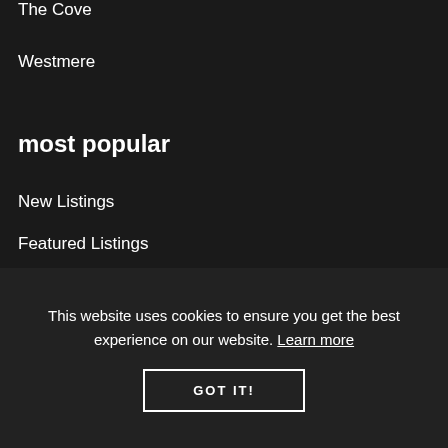The Cove
Westmere
most popular
New Listings
Featured Listings
Map Search
Selling
This website uses cookies to ensure you get the best experience on our website. Learn more
GOT IT!